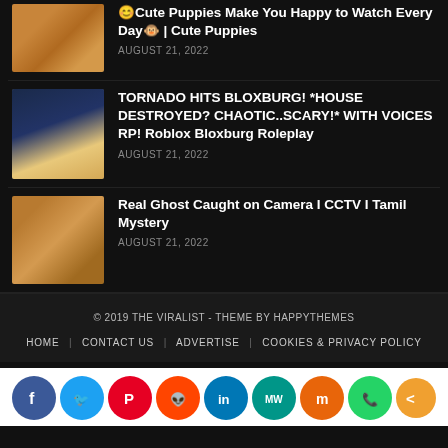[Figure (photo): Thumbnail image of cute puppies with orange/brown fur]
😊Cute Puppies Make You Happy to Watch Every Day🐵 | Cute Puppies
AUGUST 21, 2022
[Figure (photo): Thumbnail image of Roblox character in Bloxburg scene with window and tree]
TORNADO HITS BLOXBURG! *HOUSE DESTROYED? CHAOTIC..SCARY!* WITH VOICES RP! Roblox Bloxburg Roleplay
AUGUST 21, 2022
[Figure (photo): Blurry thumbnail suggesting a ghost or CCTV footage]
Real Ghost Caught on Camera I CCTV I Tamil Mystery
AUGUST 21, 2022
© 2019 THE VIRALIST - THEME BY HAPPYTHEMES
HOME | CONTACT US | ADVERTISE | COOKIES & PRIVACY POLICY
[Figure (infographic): Social media share icons row: Facebook, Twitter, Pinterest, Reddit, LinkedIn, MeWe, Mix, WhatsApp, Share]